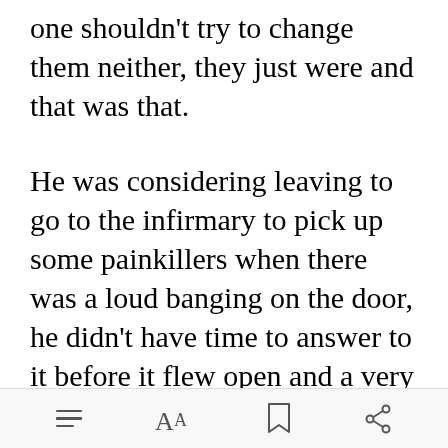one shouldn't try to change them neither, they just were and that was that.
He was considering leaving to go to the infirmary to pick up some painkillers when there was a loud banging on the door, he didn't have time to answer to it before it flew open and a very red faced elleth stormed in, carrying a four year old
[Figure (screenshot): Green 'Open in app' button overlay]
Toolbar with menu, font, bookmark, and share icons